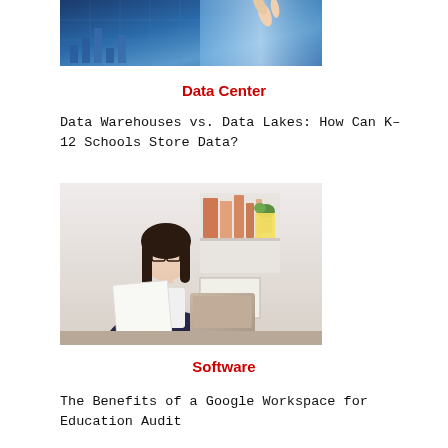[Figure (photo): Photo of a person pointing at a digital data visualization screen with charts and graphs, blue-toned technology background]
Data Center
Data Warehouses vs. Data Lakes: How Can K–12 Schools Store Data?
[Figure (photo): Photo of a young woman with glasses and dark hair, wearing a navy blazer, looking at documents while sitting in front of a laptop in an office setting]
Software
The Benefits of a Google Workspace for Education Audit